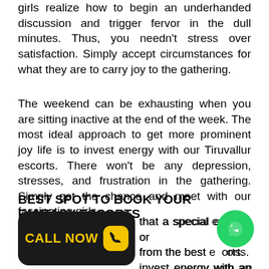girls realize how to begin an underhanded discussion and trigger fervor in the dull minutes. Thus, you needn't stress over satisfaction. Simply accept circumstances for what they are to carry joy to the gathering.
The weekend can be exhausting when you are sitting inactive at the end of the week. The most ideal approach to get more prominent joy life is to invest energy with our Tiruvallur escorts. There won't be any depression, stresses, and frustration in the gathering. Simply get the chance and meet with our fascinating girls.
BEST SPOT TO BOOK YOUR FANTASY ESCORTS
[Figure (other): Call Now button with phone icon on black rounded rectangle background]
[Figure (other): WhatsApp green circle icon]
that a special encounter or from the best escorts. invest energy with an ideal lady coordinating inclinations, side interests, and